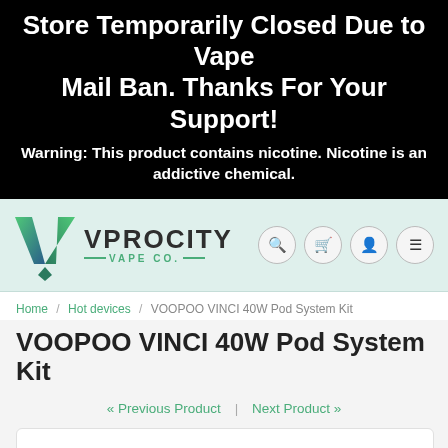Store Temporarily Closed Due to Vape Mail Ban. Thanks For Your Support!
Warning: This product contains nicotine. Nicotine is an addictive chemical.
[Figure (logo): VProcity Vape Co. logo with green V chevron icon and navigation icons (search, cart, account, menu)]
Home / Hot devices / VOOPOO VINCI 40W Pod System Kit
VOOPOO VINCI 40W Pod System Kit
« Previous Product  |  Next Product »